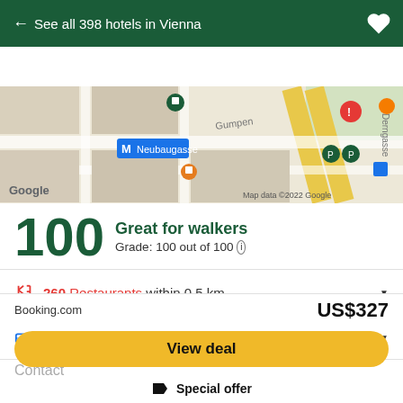← See all 398 hotels in Vienna
Location (tab selected, with Photos, About, Reviews tabs)
[Figure (map): Google Maps street map showing Neubaugasse area in Vienna with metro station marker, hotel pin, and street names including Gumpendorfer Strasse. Map data ©2022 Google.]
100  Great for walkers  Grade: 100 out of 100 ℹ
🍴 260 Restaurants within 0.5 km
🎟 74 Attractions within 0.5 km
Contact
Booking.com    US$327
View deal
🏷 Special offer